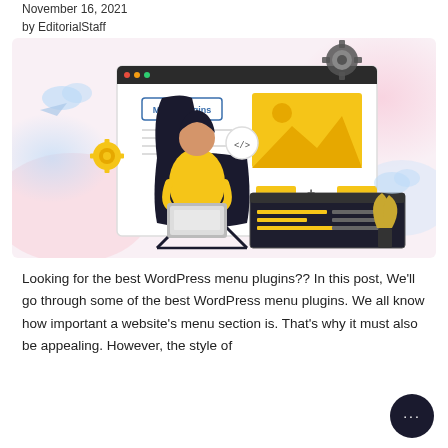November 16, 2021
by EditorialStaff
[Figure (illustration): A person sitting in a dark chair using a laptop, surrounded by floating UI elements including a browser window labeled 'Menu Plugins', gear icons, code bubbles, image placeholders, a code editor panel, and decorative clouds — representing WordPress menu plugin concepts.]
Looking for the best WordPress menu plugins?? In this post, We'll go through some of the best WordPress menu plugins. We all know how important a website's menu section is. That's why it must also be appealing. However, the style of